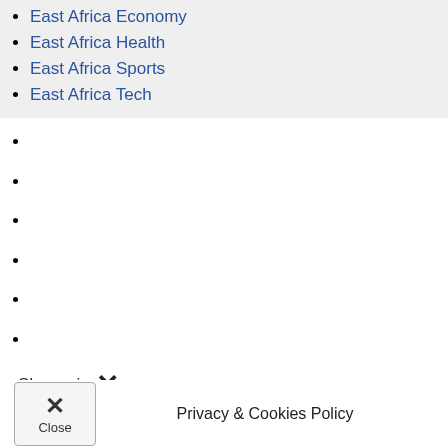East Africa Economy
East Africa Health
East Africa Sports
East Africa Tech
Share via ✕
Gmail
Email
Reddit
Love This
WhatsApp
Comments
Close
Privacy & Cookies Policy